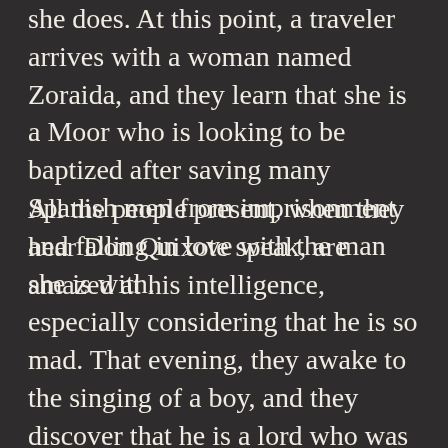she does. At this point, a traveler arrives with a woman named Zoraida, and they learn that she is a Moor who is looking to be baptized after saving many Spanish men from imprisonment and falling in love with the man she is with.
All the people present, when they hear Don Quixote speak, are amazed at his intelligence, especially considering that he is so mad. That evening, they awake to the singing of a boy, and they discover that he is a lord who was in love with Clara, the daughter of a judge (who is the brother of the captive Spanish man Zoraida saved). She has never spoken with him, but she also loves him. Also that evening, Maritornes and the innkeeper's daughter trick Don Quixote and get him hanging from the